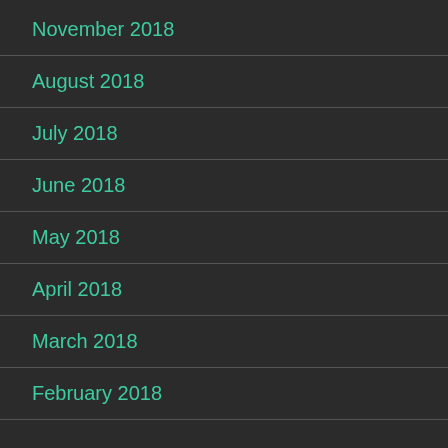November 2018
August 2018
July 2018
June 2018
May 2018
April 2018
March 2018
February 2018